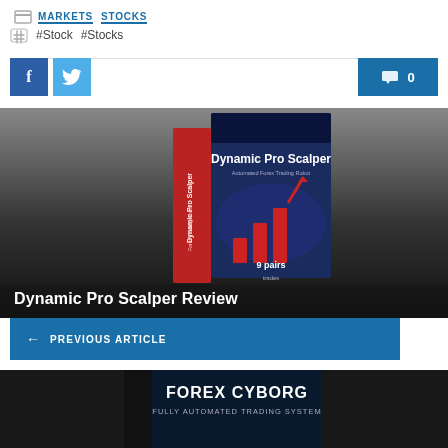MARKETS   STOCKS
#Stock #Stocks
[Figure (screenshot): Facebook and Twitter social share buttons on the left, a comment count button showing 0 on the right]
[Figure (photo): Product box image of Dynamic Pro Scalper trading software with red upward chart graphic, overlay title reads: Dynamic Pro Scalper Review]
← PREVIOUS ARTICLE
[Figure (photo): Partial product box image of Forex Cyborg Fully Automated Trading System at the bottom of the page]